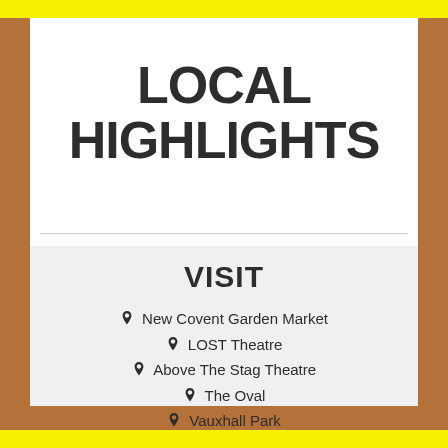LOCAL HIGHLIGHTS
VISIT
New Covent Garden Market
LOST Theatre
Above The Stag Theatre
The Oval
Vauxhall Park